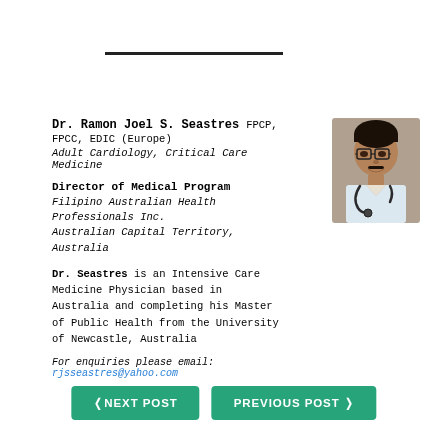Dr. Ramon Joel S. Seastres FPCP, FPCC, EDIC (Europe)
Adult Cardiology, Critical Care Medicine
Director of Medical Program
Filipino Australian Health Professionals Inc.
Australian Capital Territory, Australia
[Figure (photo): Headshot photo of Dr. Ramon Joel S. Seastres wearing glasses, a white coat, and a stethoscope.]
Dr. Seastres is an Intensive Care Medicine Physician based in Australia and completing his Master of Public Health from the University of Newcastle, Australia
For enquiries please email: rjsseastres@yahoo.com